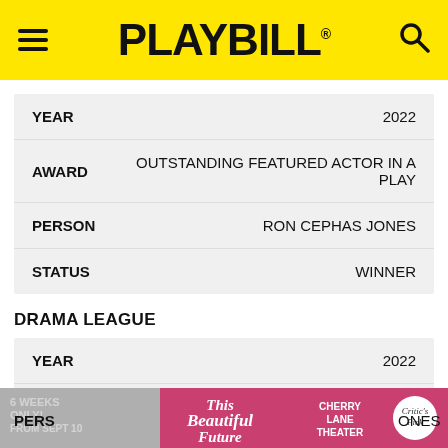PLAYBILL
| FIELD | VALUE |
| --- | --- |
| YEAR | 2022 |
| AWARD | OUTSTANDING FEATURED ACTOR IN A PLAY |
| PERSON | RON CEPHAS JONES |
| STATUS | WINNER |
DRAMA LEAGUE
| FIELD | VALUE |
| --- | --- |
| YEAR | 2022 |
| AWARD | DISTINGUISHED PERFORMANCE |
| PERSON | RON CEPHAS JONES |
[Figure (infographic): Advertisement banner for 'This Beautiful Future' at Cherry Lane Theater, 6 weeks only from Sept 10, Critic's Pick badge]